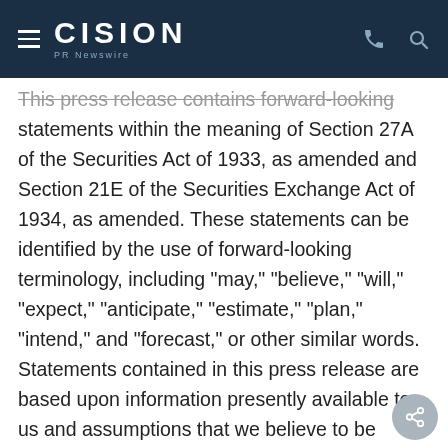CISION PR Newswire
This press release contains forward-looking statements within the meaning of Section 27A of the Securities Act of 1933, as amended and Section 21E of the Securities Exchange Act of 1934, as amended. These statements can be identified by the use of forward-looking terminology, including "may," "believe," "will," "expect," "anticipate," "estimate," "plan," "intend," and "forecast," or other similar words. Statements contained in this press release are based upon information presently available to us and assumptions that we believe to be reasonable. We are not assuming any duty to update this information should those facts change or should we no longer believe the assumptions to be reasonable. These